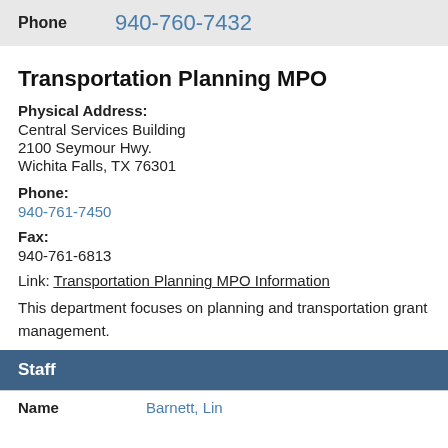| Phone |  |
| --- | --- |
| Phone | 940-760-7432 |
Transportation Planning MPO
Physical Address:
Central Services Building
2100 Seymour Hwy.
Wichita Falls, TX 76301
Phone:
940-761-7450
Fax:
940-761-6813
Link: Transportation Planning MPO Information
This department focuses on planning and transportation grant management.
Staff
| Name |  |
| --- | --- |
| Name | Barnett, Lin |